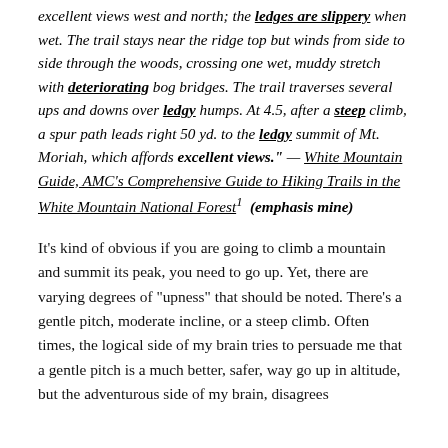excellent views west and north; the ledges are slippery when wet. The trail stays near the ridge top but winds from side to side through the woods, crossing one wet, muddy stretch with deteriorating bog bridges. The trail traverses several ups and downs over ledgy humps. At 4.5, after a steep climb, a spur path leads right 50 yd. to the ledgy summit of Mt. Moriah, which affords excellent views." — White Mountain Guide, AMC's Comprehensive Guide to Hiking Trails in the White Mountain National Forest¹ (emphasis mine)
It's kind of obvious if you are going to climb a mountain and summit its peak, you need to go up. Yet, there are varying degrees of "upness" that should be noted. There's a gentle pitch, moderate incline, or a steep climb. Often times, the logical side of my brain tries to persuade me that a gentle pitch is a much better, safer, way go up in altitude, but the adventurous side of my brain, disagrees